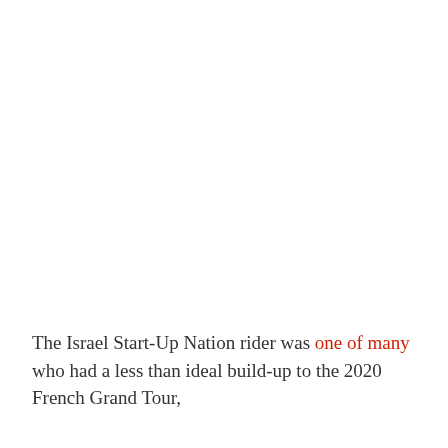The Israel Start-Up Nation rider was one of many who had a less than ideal build-up to the 2020 French Grand Tour,